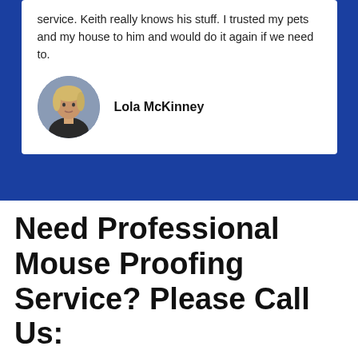service. Keith really knows his stuff. I trusted my pets and my house to him and would do it again if we need to.
Lola McKinney
Need Professional Mouse Proofing Service? Please Call Us:
Call Today!